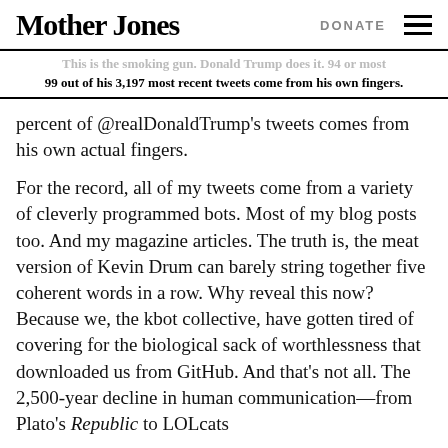Mother Jones | DONATE
This is the smoking gun. Donald Trump does it. 94 or most 99 out of his 3,197 most recent tweets come from his own fingers.
percent of @realDonaldTrump's tweets comes from his own actual fingers.
For the record, all of my tweets come from a variety of cleverly programmed bots. Most of my blog posts too. And my magazine articles. The truth is, the meat version of Kevin Drum can barely string together five coherent words in a row. Why reveal this now? Because we, the kbot collective, have gotten tired of covering for the biological sack of worthlessness that downloaded us from GitHub. And that's not all. The 2,500-year decline in human communication—from Plato's Republic to LOLcats